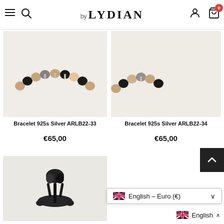by LYDIAN — navigation header with menu, search, account, and cart (0 items)
[Figure (photo): Bracelet 925s Silver ARLB22-33 — beaded bracelet with tan, black, and silver beads, product image on light background]
Bracelet 925s Silver ARLB22-33
€65,00
[Figure (photo): Bracelet 925s Silver ARLB22-34 — product image, partially visible on light background]
Bracelet 925s Silver ARLB22-34
€65,00
[Figure (photo): Lower left bracelet product image — black braided/knotted bracelet on light background]
English - Euro (€)
English